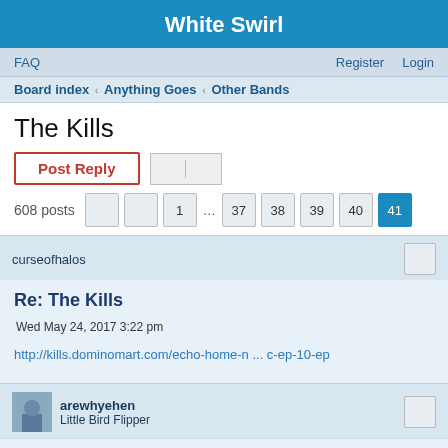White Swirl
FAQ    Register    Login
Board index ‹ Anything Goes ‹ Other Bands
The Kills
608 posts  1 ... 37 38 39 40 41
curseofhalos
Re: The Kills
Wed May 24, 2017 3:22 pm
http://kills.dominomart.com/echo-home-n ... c-ep-10-ep
arewhyehen
Little Bird Flipper
Re: The Kills